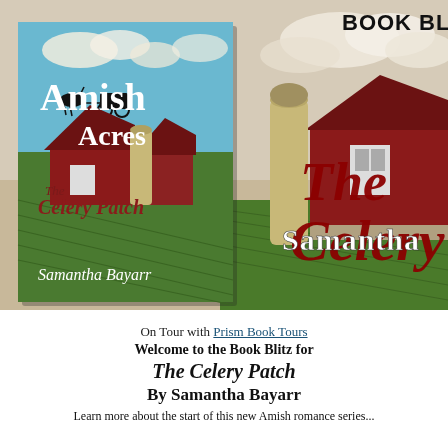[Figure (illustration): Book blitz banner showing two book covers for 'The Celery Patch' by Samantha Bayarr in the 'Amish Acres' series. Left: a book cover with 'Amish Acres' in white text, 'The Celery Patch' in script, horse and buggy silhouette, red barn and green fields. Right: a large background image of a red barn with silo, green fields, with 'The Celery' large red script text and 'Samantha' in white text. 'BOOK BLITZ' in bold black appears top right.]
On Tour with Prism Book Tours
Welcome to the Book Blitz for
The Celery Patch
By Samantha Bayarr
Learn more about the start of this new Amish romance series...